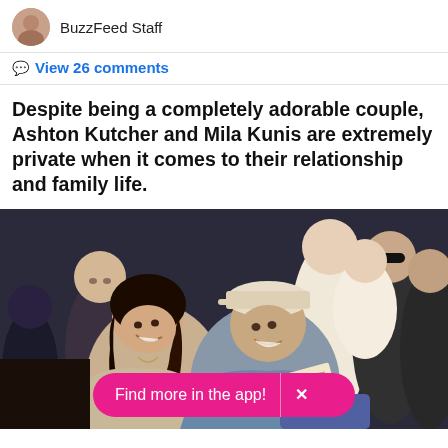BuzzFeed Staff
View 26 comments
Despite being a completely adorable couple, Ashton Kutcher and Mila Kunis are extremely private when it comes to their relationship and family life.
[Figure (photo): Mila Kunis and Ashton Kutcher sitting together at a basketball game, smiling and leaning toward each other, surrounded by fans in the background. A pink 'Find more in the app!' banner overlays the bottom of the image.]